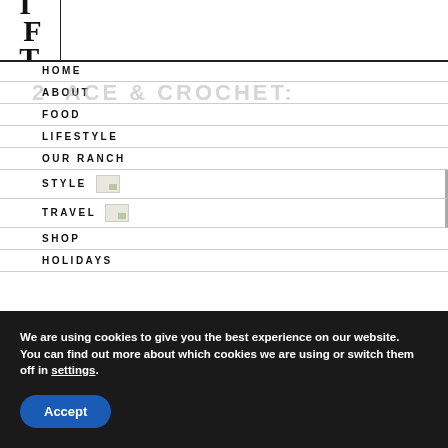[Figure (logo): Blog logo with stylized letters I, F, T in serif font, black on white, top-left corner]
HOME
2 ACE & CROCHET:
ABOUT
FOOD
LIFESTYLE
OUR RANCH
STYLE
TRAVEL
SHOP
HOLIDAYS
We are using cookies to give you the best experience on our website.
You can find out more about which cookies we are using or switch them off in settings.
Accept